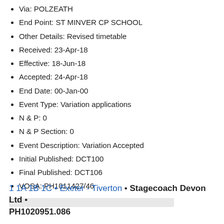Via: POLZEATH
End Point: ST MINVER CP SCHOOL
Other Details: Revised timetable
Received: 23-Apr-18
Effective: 18-Jun-18
Accepted: 24-Apr-18
End Date: 00-Jan-00
Event Type: Variation applications
N & P:  0
N & P Section: 0
Event Description:  Variation Accepted
Initial Published: DCT100
Final Published: DCT106
VOSA: PH1011427/46
1 1A 1B 1C • Exeter - Tiverton • Stagecoach Devon Ltd • PH1020951.086